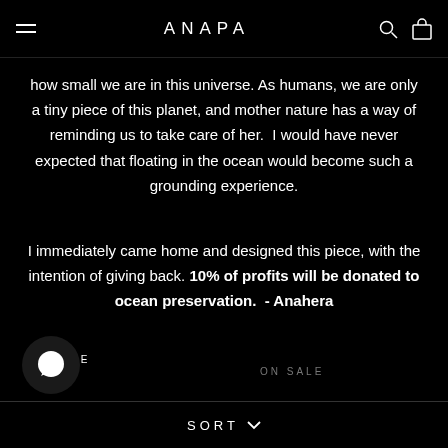ANAPA
how small we are in this universe. As humans, we are only a tiny piece of this planet, and mother nature has a way of reminding us to take care of her.  I would have never expected that floating in the ocean would become such a grounding experience.
I immediately came home and designed this piece, with the intention of giving back. 10% of profits will be donated to ocean preservation.  - Anahera
ON SALE
ON SALE
[Figure (illustration): Chat bubble icon — circular dark button with white chat bubble symbol]
SORT